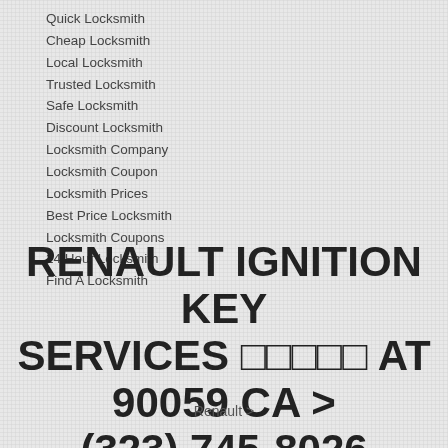Quick Locksmith
Cheap Locksmith
Local Locksmith
Trusted Locksmith
Safe Locksmith
Discount Locksmith
Locksmith Company
Locksmith Coupon
Locksmith Prices
Best Price Locksmith
Locksmith Coupons
24 Hour Locksmith
Find A Locksmith
RENAULT IGNITION KEY SERVICES 🔑🔑🔑🔑🔑 AT 90059 CA > (323) 745-8026
Renault >